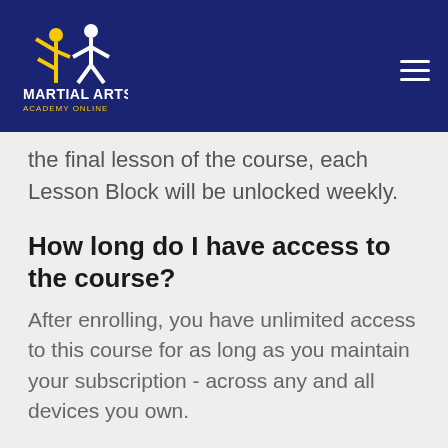Martial Arts Academy Online
the final lesson of the course, each Lesson Block will be unlocked weekly.
How long do I have access to the course?
After enrolling, you have unlimited access to this course for as long as you maintain your subscription - across any and all devices you own.
How does the course work?
Just like in an academic curriculum, your